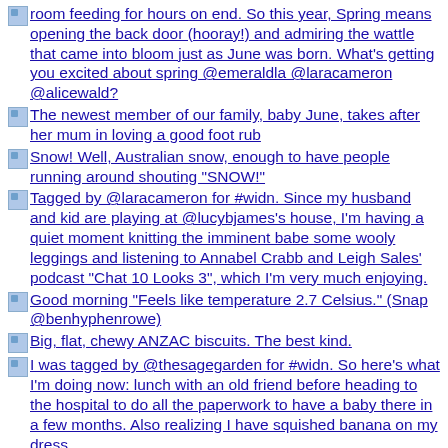room feeding for hours on end. So this year, Spring means opening the back door (hooray!) and admiring the wattle that came into bloom just as June was born. What's getting you excited about spring @emeraldla @laracameron @alicewald?
The newest member of our family, baby June, takes after her mum in loving a good foot rub
Snow! Well, Australian snow, enough to have people running around shouting "SNOW!"
Tagged by @laracameron for #widn. Since my husband and kid are playing at @lucybjames's house, I'm having a quiet moment knitting the imminent babe some wooly leggings and listening to Annabel Crabb and Leigh Sales' podcast "Chat 10 Looks 3", which I'm very much enjoying.
Good morning "Feels like temperature 2.7 Celsius." (Snap @benhyphenrowe)
Big, flat, chewy ANZAC biscuits. The best kind.
I was tagged by @thesagegarden for #widn. So here's what I'm doing now: lunch with an old friend before heading to the hospital to do all the paperwork to have a baby there in a few months. Also realizing I have squished banana on my dress.
Pretty corner outside the local yoga school and new bakery. My husband is a yoga teacher, so he has the school covered, guess I'll be in charge of frequenting the bakery #jobdone #VSCOcam
As seen on